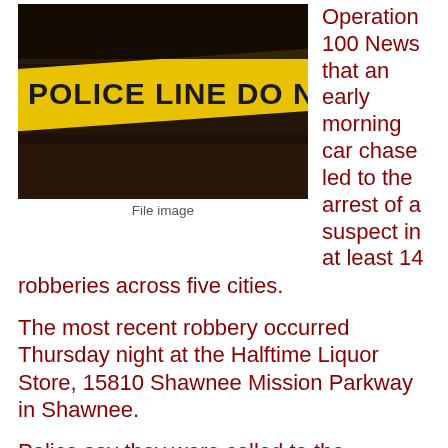[Figure (photo): Police line do not cross yellow tape photo]
File image
Operation 100 News that an early morning car chase led to the arrest of a suspect in at least 14 robberies across five cities.
The most recent robbery occurred Thursday night at the Halftime Liquor Store, 15810 Shawnee Mission Parkway in Shawnee.
Police say they were called to the business around 8:35 p.m.. Two officers happened to be right in front of the store as the robbery took place. Those officers pursued the suspect vehicle into Kansas City, Kansas. Those officers lost sight of the vehicle but, remained in the area with Kansas City, Kansas Police to watch for the vehicle.
Shawnee Police say two victims of the liquor store robbery were placed in a cooler prior to the suspect leaving the business. No injuries were reported.